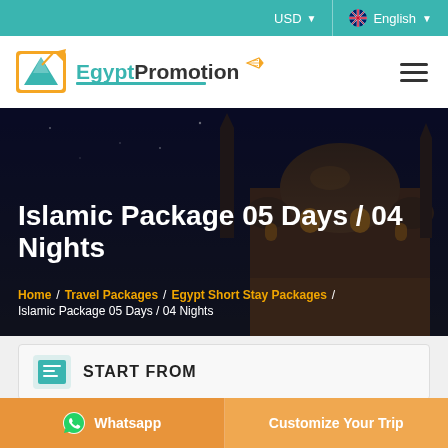USD  English
[Figure (logo): Egypt Promotion logo with teal pyramid icon and airplane graphic]
Islamic Package 05 Days / 04 Nights
Home / Travel Packages / Egypt Short Stay Packages / Islamic Package 05 Days / 04 Nights
START FROM
Whatsapp  Customize Your Trip